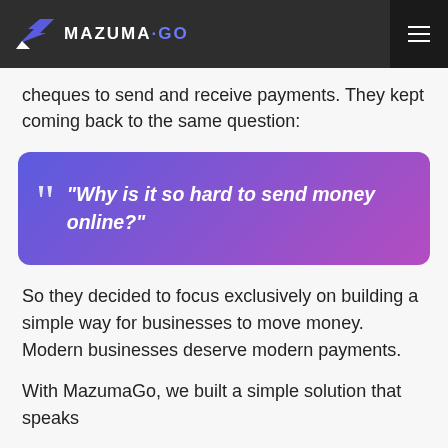MAZUMA·GO
cheques to send and receive payments. They kept coming back to the same question:
"Why is it so hard to send money online?"
So they decided to focus exclusively on building a simple way for businesses to move money. Modern businesses deserve modern payments.
With MazumaGo, we built a simple solution that speaks